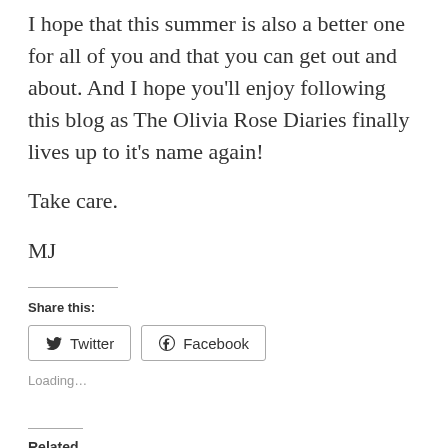I hope that this summer is also a better one for all of you and that you can get out and about. And I hope you'll enjoy following this blog as The Olivia Rose Diaries finally lives up to it's name again!
Take care.
MJ
Share this:
Twitter  Facebook
Loading…
Related